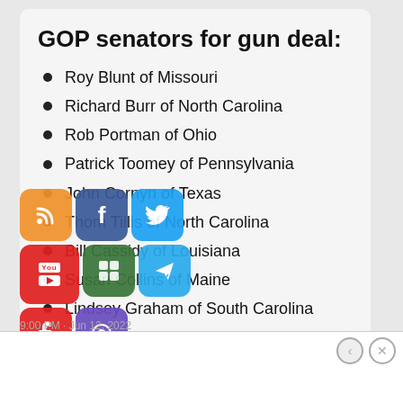GOP senators for gun deal:
Roy Blunt of Missouri
Richard Burr of North Carolina
Rob Portman of Ohio
Patrick Toomey of Pennsylvania
John Cornyn of Texas
Thom Tillis of North Carolina
Bill Cassidy of Louisiana
Susan Collins of Maine
Lindsey Graham of South Carolina
Mitt Romney of Utah
Advertisements
LONGREADS
Bringing you the best stories on the web since 2009.